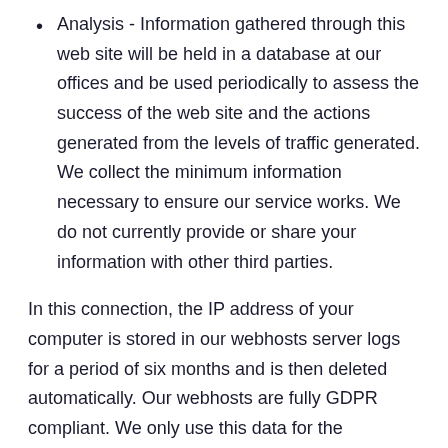Analysis - Information gathered through this web site will be held in a database at our offices and be used periodically to assess the success of the web site and the actions generated from the levels of traffic generated. We collect the minimum information necessary to ensure our service works. We do not currently provide or share your information with other third parties.
In this connection, the IP address of your computer is stored in our webhosts server logs for a period of six months and is then deleted automatically. Our webhosts are fully GDPR compliant. We only use this data for the operation of our website, in particular in